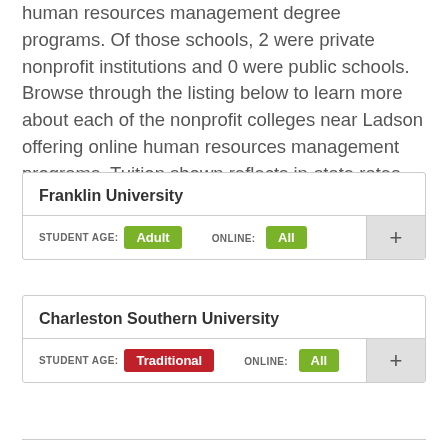human resources management degree programs. Of those schools, 2 were private nonprofit institutions and 0 were public schools. Browse through the listing below to learn more about each of the nonprofit colleges near Ladson offering online human resources management programs. Tuition shown reflects in-state rates.
Franklin University
STUDENT AGE: Adult   ONLINE: All
Charleston Southern University
STUDENT AGE: Traditional   ONLINE: All